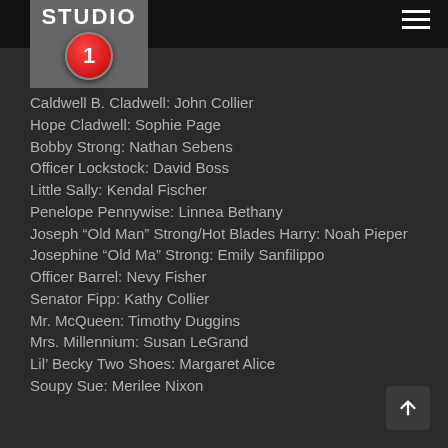STUDIO 1
Caldwell B. Cladwell: John Collier
Hope Cladwell: Sophie Page
Bobby Strong: Nathan Sebens
Officer Lockstock: David Boss
Little Sally: Kendal Fischer
Penelope Pennywise: Linnea Bethany
Joseph “Old Man” Strong/Hot Blades Harry: Noah Pieper
Josephine “Old Ma” Strong: Emily Sanfilippo
Officer Barrel: Nevy Fisher
Senator Fipp: Kathy Collier
Mr. McQueen: Timothy Duggins
Mrs. Millennium: Susan LeGrand
Lil’ Becky Two Shoes: Margaret Alice
Soupy Sue: Merilee Nixon